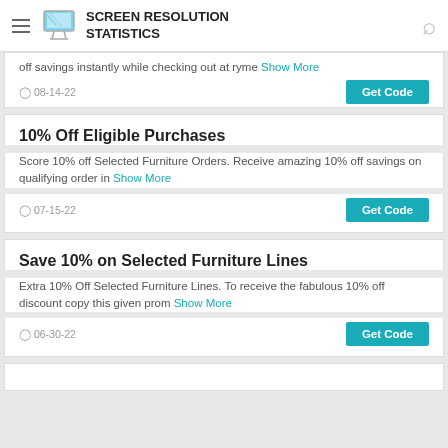SCREEN RESOLUTION STATISTICS
off savings instantly while checking out at ryme  Show More
08-14-22  Get Code
10% Off Eligible Purchases
Score 10% off Selected Furniture Orders. Receive amazing 10% off savings on qualifying order in  Show More
07-15-22  Get Code
Save 10% on Selected Furniture Lines
Extra 10% Off Selected Furniture Lines. To receive the fabulous 10% off discount copy this given prom  Show More
06-30-22  Get Code